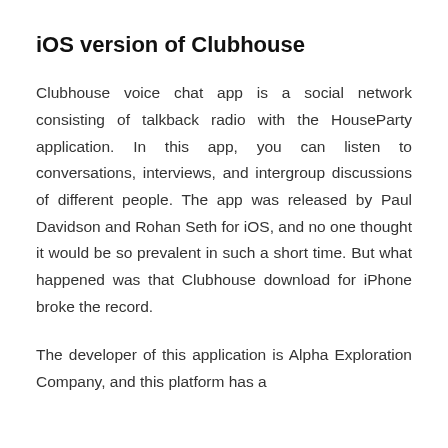iOS version of Clubhouse
Clubhouse voice chat app is a social network consisting of talkback radio with the HouseParty application. In this app, you can listen to conversations, interviews, and intergroup discussions of different people. The app was released by Paul Davidson and Rohan Seth for iOS, and no one thought it would be so prevalent in such a short time. But what happened was that Clubhouse download for iPhone broke the record.
The developer of this application is Alpha Exploration Company, and this platform has a